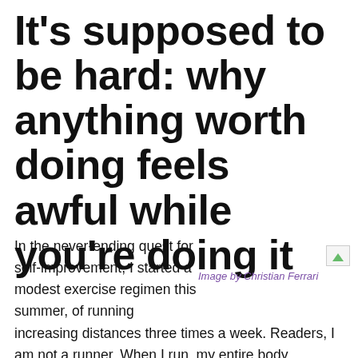It's supposed to be hard: why anything worth doing feels awful while you're doing it
[Figure (illustration): Broken image placeholder with green triangle icon]
Image by Christian Ferrari
In the never-ending quest for self-improvement, I started a modest exercise regimen this summer, of running increasing distances three times a week. Readers, I am not a runner. When I run, my entire body